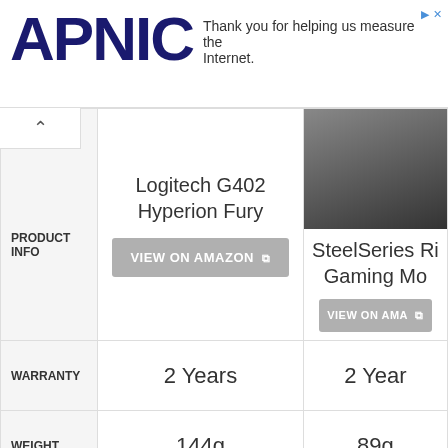[Figure (screenshot): APNIC advertisement banner with logo and text 'Thank you for helping us measure the Internet.']
|  | Logitech G402 Hyperion Fury | SteelSeries Ri... Gaming Mo... |
| --- | --- | --- |
| PRODUCT INFO | Logitech G402 Hyperion Fury [VIEW ON AMAZON] | SteelSeries Ri... Gaming Mo... [VIEW ON AMA...] |
| WARRANTY | 2 Years | 2 Year... |
| WEIGHT | 144g | 89g |
| DPI | 4000 | 12000... |